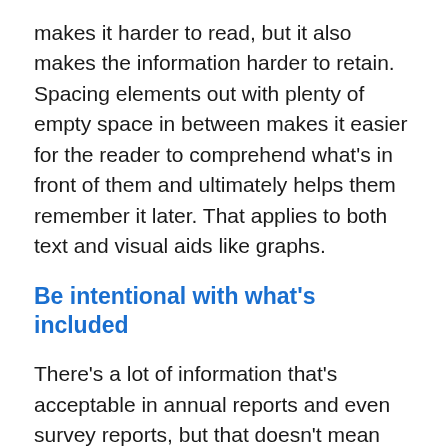makes it harder to read, but it also makes the information harder to retain. Spacing elements out with plenty of empty space in between makes it easier for the reader to comprehend what's in front of them and ultimately helps them remember it later. That applies to both text and visual aids like graphs.
Be intentional with what's included
There's a lot of information that's acceptable in annual reports and even survey reports, but that doesn't mean you should include everything. You're free to pick and choose